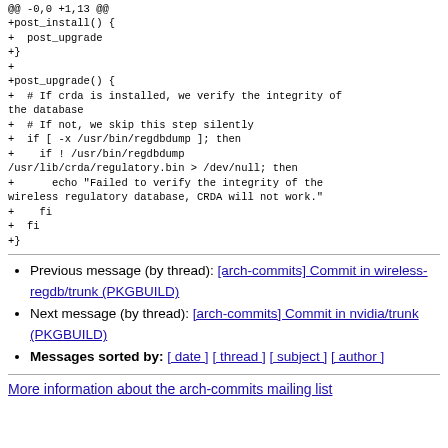@@ -0,0 +1,13 @@
+post_install() {
+  post_upgrade
+}
+
+post_upgrade() {
+  # If crda is installed, we verify the integrity of the database
+  # If not, we skip this step silently
+  if [ -x /usr/bin/regdbdump ]; then
+    if ! /usr/bin/regdbdump /usr/lib/crda/regulatory.bin > /dev/null; then
+      echo "Failed to verify the integrity of the wireless regulatory database, CRDA will not work."
+    fi
+  fi
+}
Previous message (by thread): [arch-commits] Commit in wireless-regdb/trunk (PKGBUILD)
Next message (by thread): [arch-commits] Commit in nvidia/trunk (PKGBUILD)
Messages sorted by: [ date ] [ thread ] [ subject ] [ author ]
More information about the arch-commits mailing list